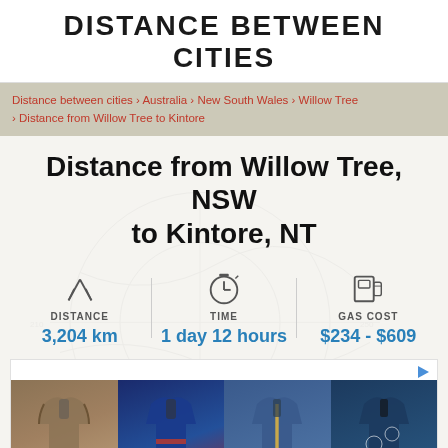DISTANCE BETWEEN CITIES
Distance between cities › Australia › New South Wales › Willow Tree › Distance from Willow Tree to Kintore
Distance from Willow Tree, NSW to Kintore, NT
DISTANCE
3,204 km
TIME
1 day 12 hours
GAS COST
$234 - $609
[Figure (photo): Advertisement showing four shirts with various designs including camouflage, American flag, denim, and tropical patterns]